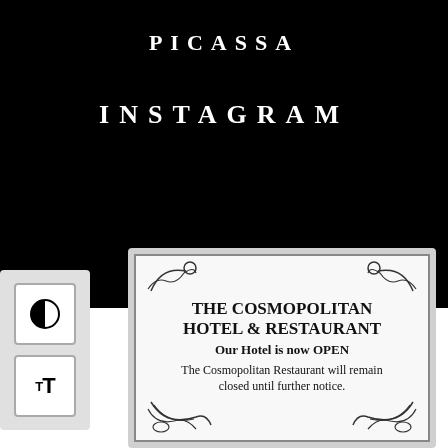PICASSA
INSTAGRAM
[Figure (illustration): Decorative hotel sign reading: THE COSMOPOLITAN HOTEL & RESTAURANT. Our Hotel is now OPEN. The Cosmopolitan Restaurant will remain closed until further notice. Ornamental scroll borders at corners.]
[Figure (other): Call button icon — circular phone icon with CALL label below]